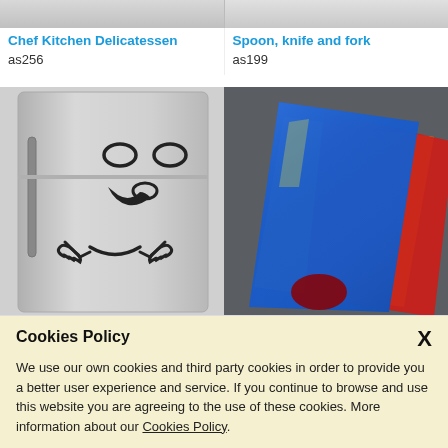[Figure (photo): Top partial view of two product images cropped at top of page]
Chef Kitchen Delicatessen
as256
Spoon, knife and fork
as199
[Figure (photo): Refrigerator with a cartoon smiley face sticker drawn on it, showing eyes, tongue and hands]
[Figure (photo): Stack of colorful cutting boards in blue, red, and yellow on dark grey background]
Cookies Policy

We use our own cookies and third party cookies in order to provide you a better user experience and service. If you continue to browse and use this website you are agreeing to the use of these cookies. More information about our Cookies Policy.